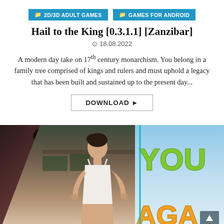2D/3D ADULT GAMES
GAMES FOR ANDROID
Hail to the King [0.3.1.1] [Zanzibar]
18.08.2022
A modern day take on 17th century monarchism. You belong in a family tree comprised of kings and rulers and must uphold a legacy that has been built and sustained up to the present day...
DOWNLOAD
[Figure (screenshot): Game screenshots showing 3D rendered female characters and game title text reading 'YOU AGAIN']